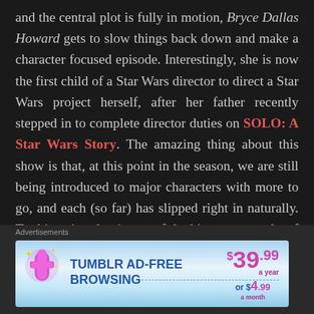and the central plot is fully in motion, Bryce Dallas Howard gets to slow things back down and make a character focused episode. Interestingly, she is now the first child of a Star Wars director to direct a Star Wars project herself, after her father recently stepped in to complete director duties on SOLO: A Star Wars Story. The amazing thing about this show is that, at this point in the season, we are still being introduced to major characters with more to go, and each (so far) has slipped right in naturally. To this point, that is one of the biggest strengths of the series: it all feels natural, and this episode recontextualizes things in Star Wars past to their best effect yet. My favorite shots of this episode (and some of the best yet) come in the opening moments with a true calm before a storm that shows
Advertisements
[Figure (screenshot): Tumblr ad-free browsing advertisement banner showing Tumblr logo, text 'TUMBLR AD-FREE BROWSING', price $39.99 a year or $4.99 a month, on a light blue gradient background]